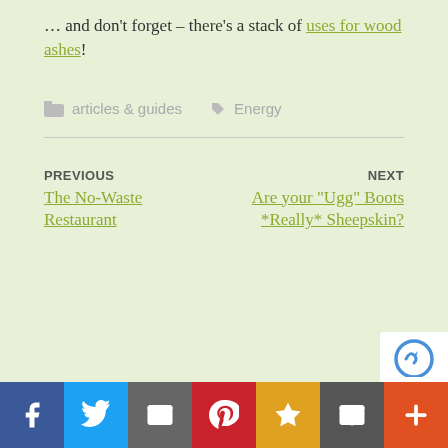… and don't forget – there's a stack of uses for wood ashes!
articles & guides   Energy
PREVIOUS
The No-Waste Restaurant
NEXT
Are your "Ugg" Boots *Really* Sheepskin?
[Figure (other): Social sharing bar with buttons: Facebook (blue), Twitter (light blue), Email (gray), Pinterest (red), Favorites star (yellow/gold), Email envelope (dark gray), Plus/More (orange-red)]